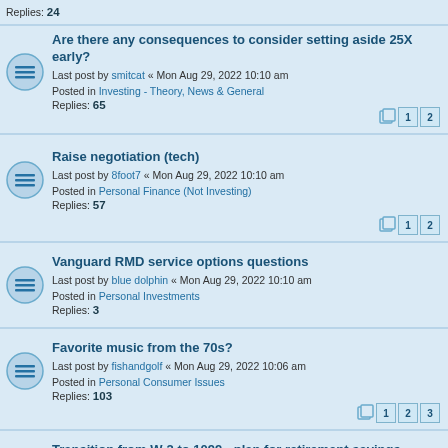Are there any consequences to consider setting aside 25X early?
Last post by smitcat « Mon Aug 29, 2022 10:10 am
Posted in Investing - Theory, News & General
Replies: 65
Raise negotiation (tech)
Last post by 8foot7 « Mon Aug 29, 2022 10:10 am
Posted in Personal Finance (Not Investing)
Replies: 57
Vanguard RMD service options questions
Last post by blue dolphin « Mon Aug 29, 2022 10:10 am
Posted in Personal Investments
Replies: 3
Favorite music from the 70s?
Last post by fishandgolf « Mon Aug 29, 2022 10:06 am
Posted in Personal Consumer Issues
Replies: 103
Transition from W-2 to 1099 - plan for retirement savings
Last post by HomeStretch « Mon Aug 29, 2022 10:04 am
Posted in Personal Investments
Replies: 1
What Movie Have You Recently Watched?
Last post by Serie1926 « Mon Aug 29, 2022 10:03 am
Posted in Personal Consumer Issues
Replies: 8681
EU citizen resident in UK: house fund investments?